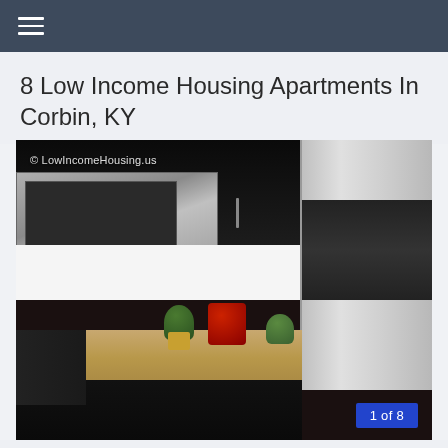8 Low Income Housing Apartments In Corbin, KY
[Figure (photo): Interior photo of a kitchen with dark upper and lower cabinets, stainless steel appliances including a microwave and refrigerator, light-colored countertop with plants and a red item. Watermark reads '© LowIncomeHousing.us'. Badge overlay reads '1 of 8'.]